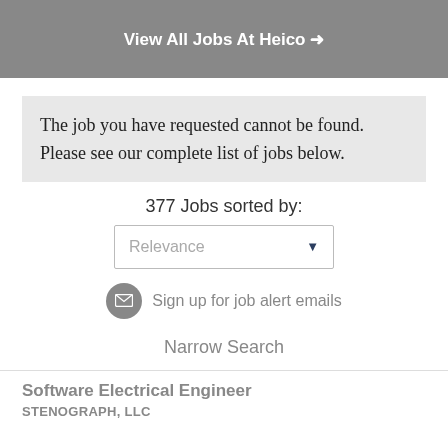View All Jobs At Heico ➔
The job you have requested cannot be found. Please see our complete list of jobs below.
377 Jobs sorted by:
Relevance
Sign up for job alert emails
Narrow Search
Software Electrical Engineer
STENOGRAPH, LLC